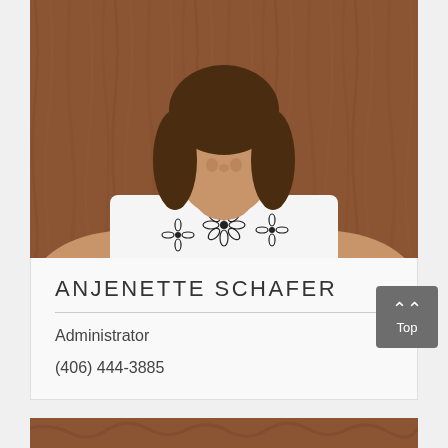[Figure (photo): Portrait photo of Anjenette Schafer, a woman with brown hair wearing a white top with black floral pattern, photographed against a brown wood-grain background.]
ANJENETTE SCHAFER
Administrator
(406) 444-3885